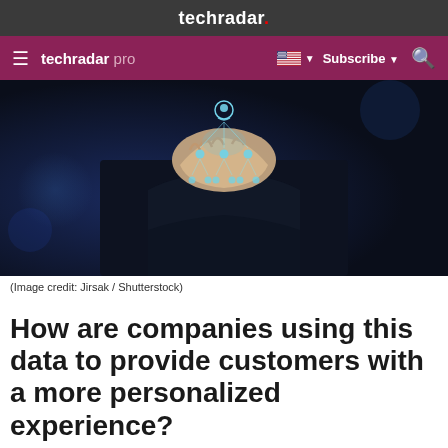techradar.
techradar pro  Subscribe
[Figure (photo): A person in a dark suit holding a glowing network/organizational icon in their palm, with multiple user icons arranged in a hierarchy below, on a dark blue background.]
(Image credit: Jirsak / Shutterstock)
How are companies using this data to provide customers with a more personalized experience?